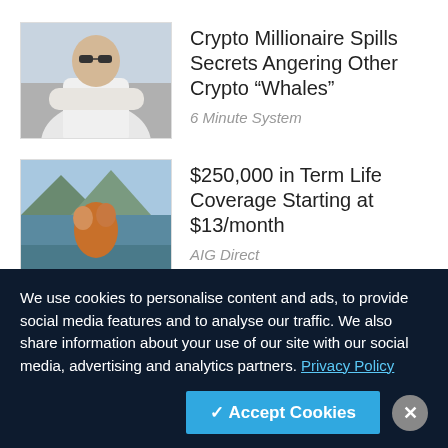[Figure (photo): Man in white shirt with arms crossed, wearing sunglasses]
Crypto Millionaire Spills Secrets Angering Other Crypto “Whales”
6 Minute System
[Figure (photo): Couple hugging near a lake with mountains]
$250,000 in Term Life Coverage Starting at $13/month
AIG Direct
[Figure (photo): Bald man in front of red background]
First look — Bonner’s 4th and Final Prediction
We use cookies to personalise content and ads, to provide social media features and to analyse our traffic. We also share information about your use of our site with our social media, advertising and analytics partners. Privacy Policy
✓ Accept Cookies